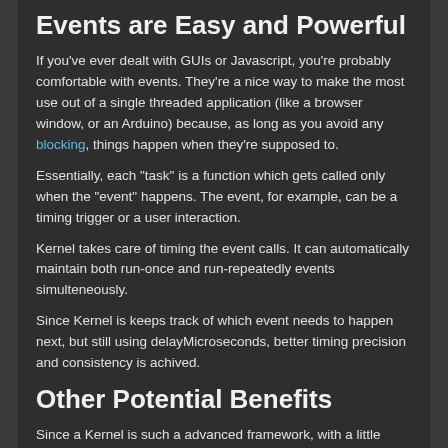Events are Easy and Powerful
If you've ever dealt with GUIs or Javascript, you're probably comfortable with events. They're a nice way to make the most use out of a single threaded application (like a browser window, or an Arduino) because, as long as you avoid any blocking, things happen when they're supposed to.
Essentially, each "task" is a function which gets called only when the "event" happens. The event, for example, can be a timing trigger or a user interaction.
Kernel takes care of timing the event calls. It can automatically maintain both run-once and run-repeatedly events simulteneously.
Since Kernel is keeps track of which event needs to happen next, but still using delayMicroseconds, better timing precision and consistency is achived.
Other Potential Benefits
Since a Kernel is such a advanced framework, with a little additional programming, some really useful features can be added:
It could keep track of how long a task takes to complete, or give more